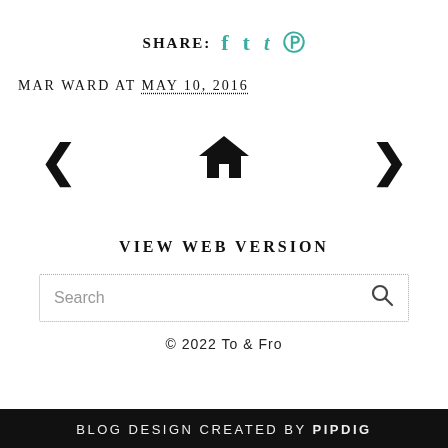SHARE: f t ® (social share icons)
MAR WARD AT MAY 10, 2016
[Figure (other): Navigation arrows (left, home, right) for blog post navigation]
VIEW WEB VERSION
Search
© 2022 To & Fro
BLOG DESIGN CREATED BY pipdig